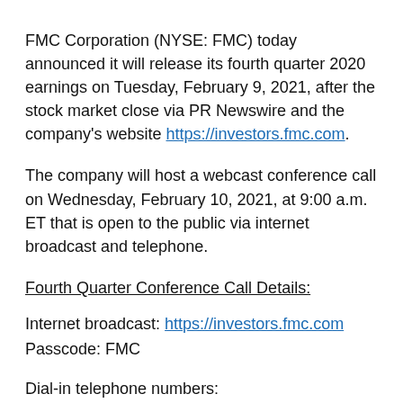FMC Corporation (NYSE: FMC) today announced it will release its fourth quarter 2020 earnings on Tuesday, February 9, 2021, after the stock market close via PR Newswire and the company's website https://investors.fmc.com.
The company will host a webcast conference call on Wednesday, February 10, 2021, at 9:00 a.m. ET that is open to the public via internet broadcast and telephone.
Fourth Quarter Conference Call Details:
Internet broadcast: https://investors.fmc.com
Passcode: FMC
Dial-in telephone numbers:
US Toll Free: 1-844-750-4894
International Dial In: 1-412-317-5290